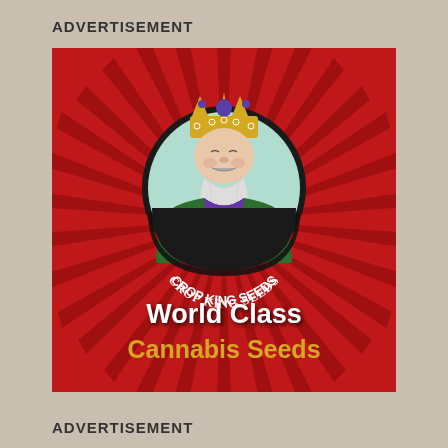ADVERTISEMENT
[Figure (logo): Crop King Seeds advertisement. Red sunburst background with a circular logo featuring a cartoon king with a gold crown and long white beard wearing a green robe. Text around the circle reads 'CROP KING SEEDS'. Below the logo: 'World Class Cannabis Seeds' in white and gold text.]
ADVERTISEMENT